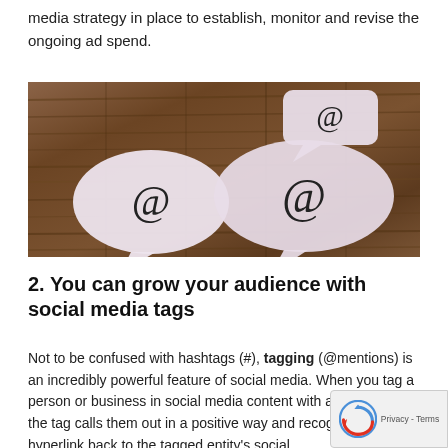media strategy in place to establish, monitor and revise the ongoing ad spend.
[Figure (photo): Four white speech bubbles with '@' symbols on a wooden background, representing social media tagging and @mentions]
2. You can grow your audience with social media tags
Not to be confused with hashtags (#), tagging (@mentions) is an incredibly powerful feature of social media. When you tag a person or business in social media content with a @mention, the tag calls them out in a positive way and recognition. Tags hyperlink back to the tagged entity's social